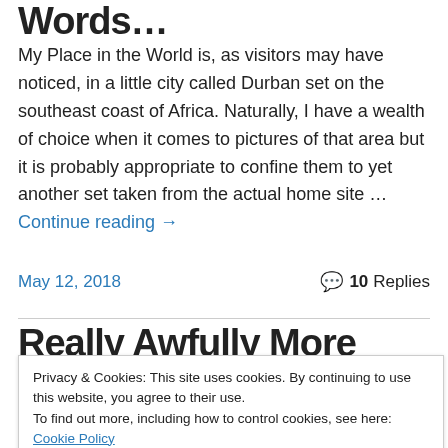Words…
My Place in the World is, as visitors may have noticed, in a little city called Durban set on the southeast coast of Africa. Naturally, I have a wealth of choice when it comes to pictures of that area but it is probably appropriate to confine them to yet another set taken from the actual home site … Continue reading →
May 12, 2018 · 10 Replies
Really Awfully More Ornate
Privacy & Cookies: This site uses cookies. By continuing to use this website, you agree to their use. To find out more, including how to control cookies, see here: Cookie Policy
interfered with slightly.  In quick succession, the light in my